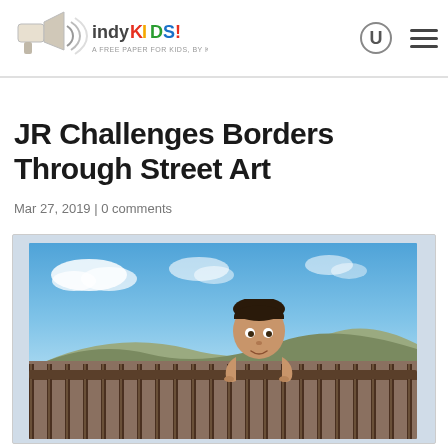Indy KIDS! - A Free Paper For Kids, By Kids
JR Challenges Borders Through Street Art
Mar 27, 2019 | 0 comments
[Figure (photo): Photo of a child peeking over a border fence/wall with blue sky and clouds in the background. The child's hands grip the top of the fence bars. The image appears to be street art by JR showing a giant child looking over the US-Mexico border wall.]